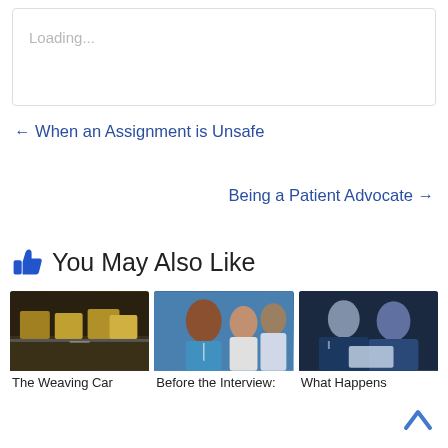Loading...
← When an Assignment is Unsafe
Being a Patient Advocate →
👍 You May Also Like
[Figure (photo): Street scene with traffic, buses and cars on a busy road]
The Weaving Car
[Figure (photo): Group of nurses/medical staff smiling, woman in foreground wearing blue scrubs]
Before the Interview:
[Figure (photo): Two businessmen in suits looking at documents or tablet]
What Happens